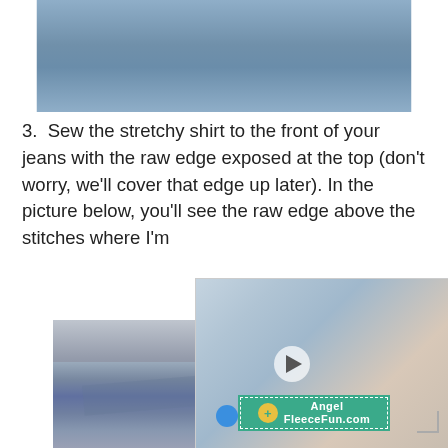[Figure (photo): Close-up photo of denim jeans fabric at the top of the page]
3.  Sew the stretchy shirt to the front of your jeans with the raw edge exposed at the top (don't worry, we'll cover that edge up later). In the picture below, you'll see the raw edge above the stitches where I'm
[Figure (photo): Photo showing hands sewing stretchy fabric to jeans, with a video overlay thumbnail of Angel FleeceFun.com]
[Figure (photo): Bottom photo showing the sewn stretchy fabric attached to the front of jeans with the raw edge visible above stitches]